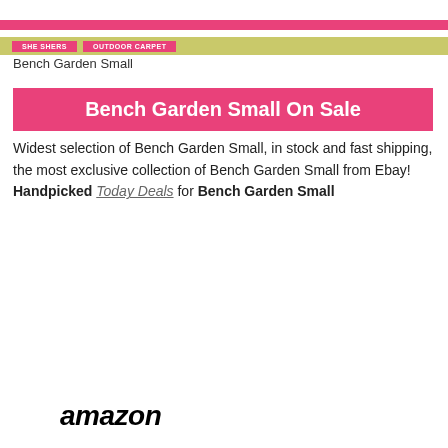SHE SHERS | OUTDOOR CARPET
Bench Garden Small
Bench Garden Small On Sale
Widest selection of Bench Garden Small, in stock and fast shipping, the most exclusive collection of Bench Garden Small from Ebay! Handpicked Today Deals for Bench Garden Small
[Figure (logo): Amazon logo in bold black italic text]